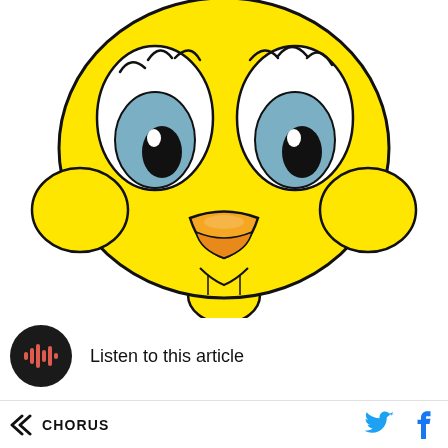[Figure (illustration): Close-up illustration of Tweety Bird (Looney Tunes cartoon character) — large yellow head with big blue eyes, orange beak, and small yellow body/neck, on white background]
Listen to this article
CHORUS